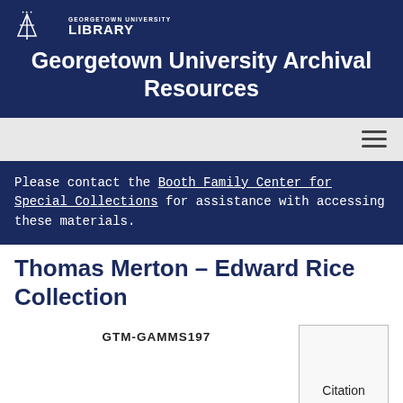Georgetown University Archival Resources
Please contact the Booth Family Center for Special Collections for assistance with accessing these materials.
Thomas Merton – Edward Rice Collection
GTM-GAMMS197
Citation
Print
Request